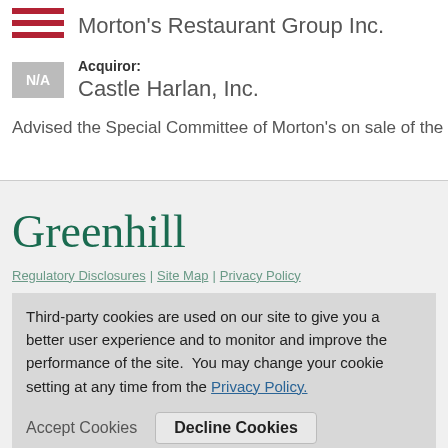Morton's Restaurant Group Inc.
Acquiror: Castle Harlan, Inc.
Advised the Special Committee of Morton's on sale of the Compa...
Greenhill
Regulatory Disclosures | Site Map | Privacy Policy
Third-party cookies are used on our site to give you a better user experience and to monitor and improve the performance of the site.  You may change your cookie setting at any time from the Privacy Policy.
Accept Cookies    Decline Cookies